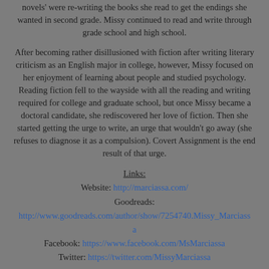novels' were re-writing the books she read to get the endings she wanted in second grade. Missy continued to read and write through grade school and high school.
After becoming rather disillusioned with fiction after writing literary criticism as an English major in college, however, Missy focused on her enjoyment of learning about people and studied psychology. Reading fiction fell to the wayside with all the reading and writing required for college and graduate school, but once Missy became a doctoral candidate, she rediscovered her love of fiction. Then she started getting the urge to write, an urge that wouldn't go away (she refuses to diagnose it as a compulsion). Covert Assignment is the end result of that urge.
Links:
Website: http://marciassa.com/
Goodreads: http://www.goodreads.com/author/show/7254740.Missy_Marciassa
Facebook: https://www.facebook.com/MsMarciassa
Twitter: https://twitter.com/MissyMarciassa